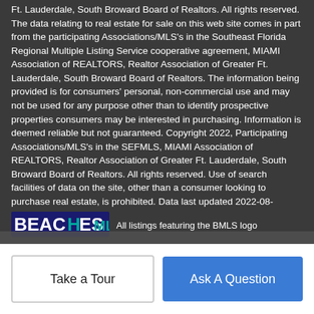Ft. Lauderdale, South Broward Board of Realtors. All rights reserved. The data relating to real estate for sale on this web site comes in part from the participating Associations/MLS's in the Southeast Florida Regional Multiple Listing Service cooperative agreement, MIAMI Association of REALTORS, Realtor Association of Greater Ft. Lauderdale, South Broward Board of Realtors. The information being provided is for consumers' personal, non-commercial use and may not be used for any purpose other than to identify prospective properties consumers may be interested in purchasing. Information is deemed reliable but not guaranteed. Copyright 2022, Participating Associations/MLS's in the SEFMLS, MIAMI Association of REALTORS, Realtor Association of Greater Ft. Lauderdale, South Broward Board of Realtors. All rights reserved. Use of search facilities of data on the site, other than a consumer looking to purchase real estate, is prohibited. Data last updated 2022-08-30T10:52:10.567.
[Figure (logo): BEACHES MLS logo in blue and teal colors]
All listings featuring the BMLS logo
Take a Tour
Ask A Question